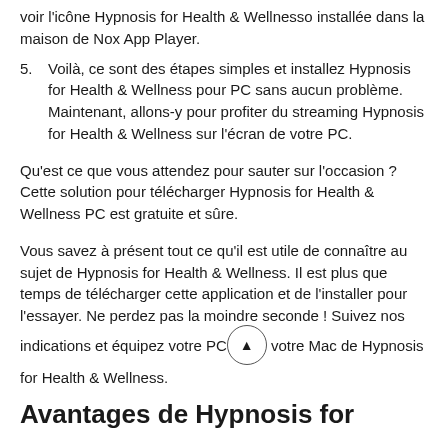voir l'icône Hypnosis for Health & Wellnesso installée dans la maison de Nox App Player.
5. Voilà, ce sont des étapes simples et installez Hypnosis for Health & Wellness pour PC sans aucun problème. Maintenant, allons-y pour profiter du streaming Hypnosis for Health & Wellness sur l'écran de votre PC.
Qu'est ce que vous attendez pour sauter sur l'occasion ? Cette solution pour télécharger Hypnosis for Health & Wellness PC est gratuite et sûre.
Vous savez à présent tout ce qu'il est utile de connaître au sujet de Hypnosis for Health & Wellness. Il est plus que temps de télécharger cette application et de l'installer pour l'essayer. Ne perdez pas la moindre seconde ! Suivez nos indications et équipez votre PC ou votre Mac de Hypnosis for Health & Wellness.
Avantages de Hypnosis for